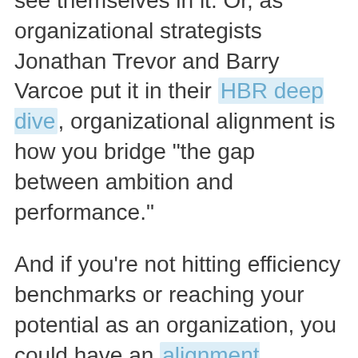see themselves in it. Or, as organizational strategists Jonathan Trevor and Barry Varcoe put it in their HBR deep dive, organizational alignment is how you bridge "the gap between ambition and performance."
And if you're not hitting efficiency benchmarks or reaching your potential as an organization, you could have an alignment problem. But don't worry, there are ways to fix it.